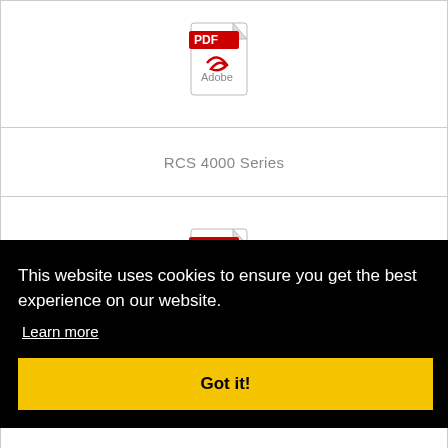[Figure (illustration): Adobe PDF file icon (red and white) at the top of the page inside a table cell]
RCS 4000 Series
[Figure (illustration): Adobe PDF file icon (red and white) in a second table cell]
Safety Data Sheets
Foam-LOK FL 2000 High Elevation
This website uses cookies to ensure you get the best experience on our website.
Learn more
Got it!
Safety Data Sheets